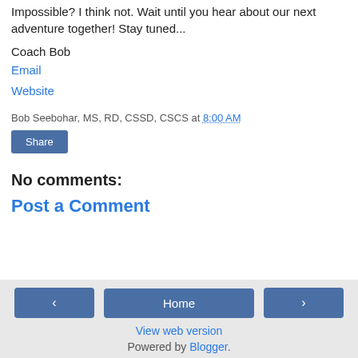Impossible?  I think not.  Wait until you hear about our next adventure together!  Stay tuned...
Coach Bob
Email
Website
Bob Seebohar, MS, RD, CSSD, CSCS at 8:00 AM
Share
No comments:
Post a Comment
‹  Home  ›  View web version  Powered by Blogger.